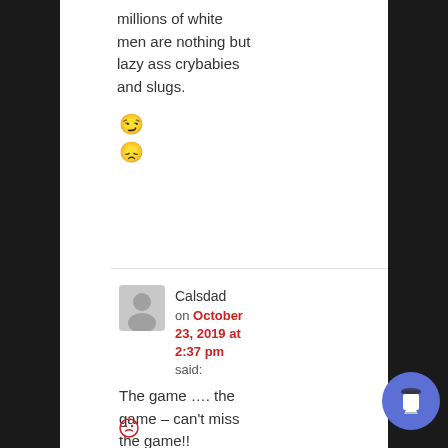millions of white men are nothing but lazy ass crybabies and slugs.
☹ ☹
Calsdad on October 23, 2019 at 2:37 pm said:
The game …. the game – can't miss the game!!